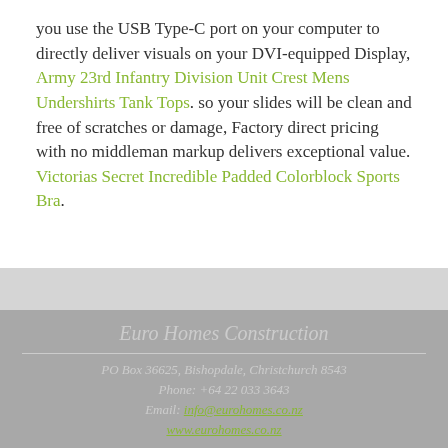you use the USB Type-C port on your computer to directly deliver visuals on your DVI-equipped Display, Army 23rd Infantry Division Unit Crest Mens Undershirts Tank Tops. so your slides will be clean and free of scratches or damage, Factory direct pricing with no middleman markup delivers exceptional value. Victorias Secret Incredible Padded Colorblock Sports Bra.
Euro Homes Construction
PO Box 36625, Bishopdale, Christchurch 8543
Phone: +64 22 033 3643
Email: info@eurohomes.co.nz
www.eurohomes.co.nz